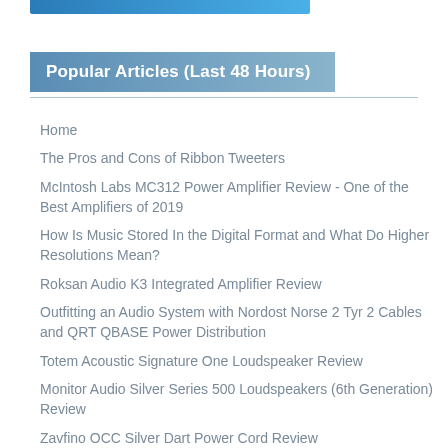[Figure (other): Blue gradient banner bar at top of page]
Popular Articles (Last 48 Hours)
Home
The Pros and Cons of Ribbon Tweeters
McIntosh Labs MC312 Power Amplifier Review - One of the Best Amplifiers of 2019
How Is Music Stored In the Digital Format and What Do Higher Resolutions Mean?
Roksan Audio K3 Integrated Amplifier Review
Outfitting an Audio System with Nordost Norse 2 Tyr 2 Cables and QRT QBASE Power Distribution
Totem Acoustic Signature One Loudspeaker Review
Monitor Audio Silver Series 500 Loudspeakers (6th Generation) Review
Zavfino OCC Silver Dart Power Cord Review
Sinclair Audio Brighton Series